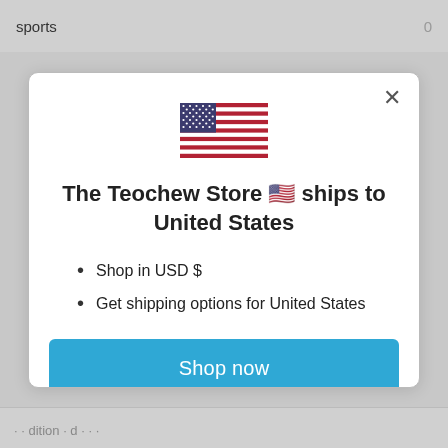sports   0
[Figure (illustration): US flag emoji/icon centered in modal]
The Teochew Store 🇺🇸 ships to United States
Shop in USD $
Get shipping options for United States
Shop now
Change shipping country
· · dition · d · · ·